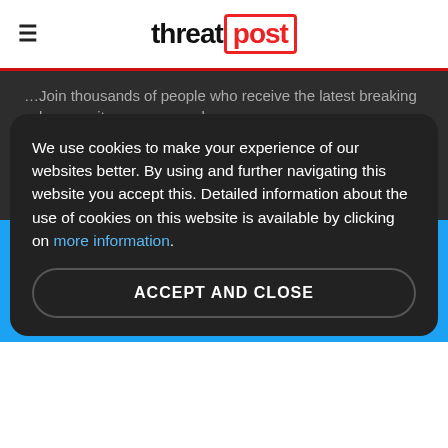threat post
…Join thousands of people who receive the latest breaking cybersecurity news every day.
Subscribe now
[Figure (screenshot): Twitter card with blue background showing Twitter pill label, Twitter bird icon, and headline: Fake #travel reservations are exacting more pain]
We use cookies to make your experience of our websites better. By using and further navigating this website you accept this. Detailed information about the use of cookies on this website is available by clicking on more information.
ACCEPT AND CLOSE